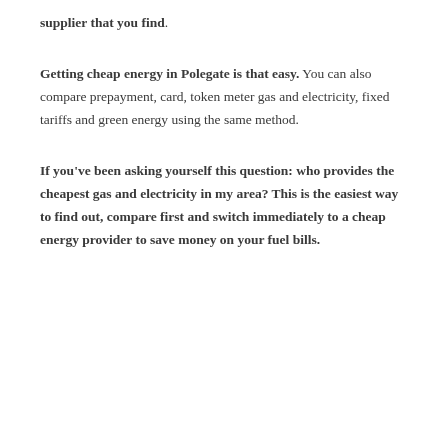supplier that you find.
Getting cheap energy in Polegate is that easy. You can also compare prepayment, card, token meter gas and electricity, fixed tariffs and green energy using the same method.
If you've been asking yourself this question: who provides the cheapest gas and electricity in my area? This is the easiest way to find out, compare first and switch immediately to a cheap energy provider to save money on your fuel bills.